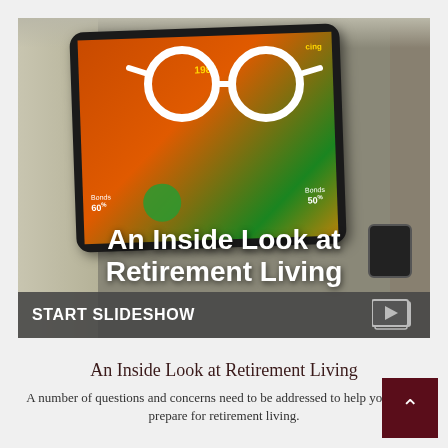[Figure (photo): Hero image showing a tablet device with a retirement investment slideshow, overlaid with glasses icon and title text 'An Inside Look at Retirement Living', with a 'START SLIDESHOW' bar at the bottom]
An Inside Look at Retirement Living
A number of questions and concerns need to be addressed to help you better prepare for retirement living.